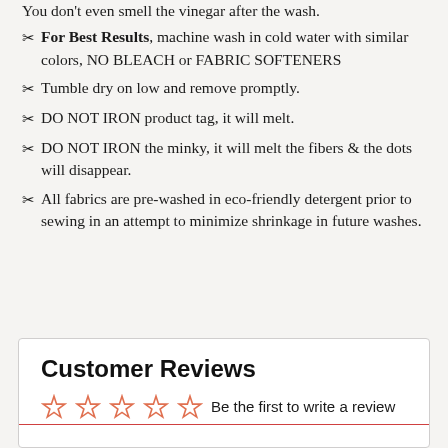✂ For Best Results, machine wash in cold water with similar colors, NO BLEACH or FABRIC SOFTENERS
✂ Tumble dry on low and remove promptly.
✂ DO NOT IRON product tag, it will melt.
✂ DO NOT IRON the minky, it will melt the fibers & the dots will disappear.
✂ All fabrics are pre-washed in eco-friendly detergent prior to sewing in an attempt to minimize shrinkage in future washes.
Customer Reviews
Be the first to write a review